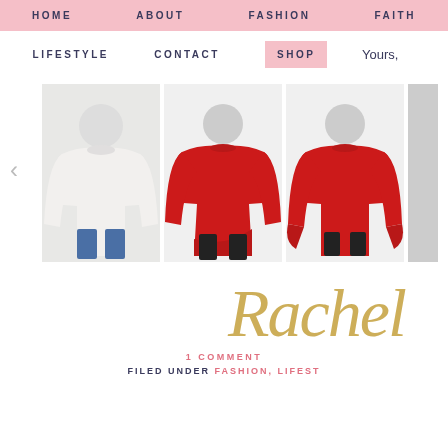HOME   ABOUT   FASHION   FAITH
LIFESTYLE   CONTACT   SHOP   Yours,
[Figure (photo): Fashion blog screenshot showing navigation bar with HOME, ABOUT, FASHION, FAITH, LIFESTYLE, CONTACT, SHOP menu items, and a carousel of three sweaters: one white bell-sleeve sweater, one red asymmetric sweater, and one red bell-sleeve sweater. A script signature reading 'Rachel' in gold. Below: '1 COMMENT' and 'FILED UNDER FASHION, LIFESTYLE']
1 COMMENT
FILED UNDER FASHION, LIFEST